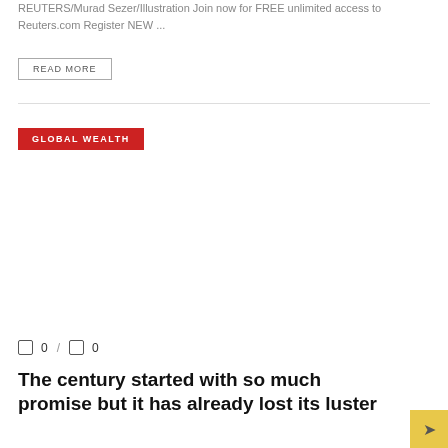REUTERS/Murad Sezer/Illustration Join now for FREE unlimited access to Reuters.com Register NEW ...
READ MORE
GLOBAL WEALTH
0 / 0
The century started with so much promise but it has already lost its luster